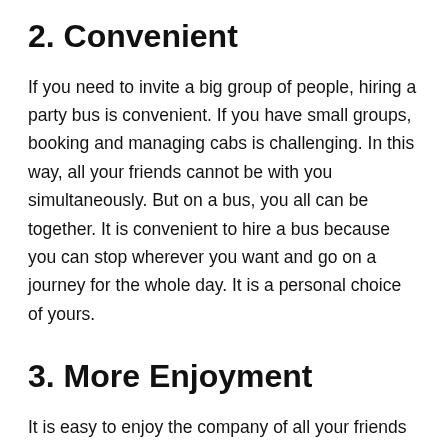2. Convenient
If you need to invite a big group of people, hiring a party bus is convenient. If you have small groups, booking and managing cabs is challenging. In this way, all your friends cannot be with you simultaneously. But on a bus, you all can be together. It is convenient to hire a bus because you can stop wherever you want and go on a journey for the whole day. It is a personal choice of yours.
3. More Enjoyment
It is easy to enjoy the company of all your friends on the bus. You can talk to anyone and share drinks with them. You can play party songs and dance with your friends. Arranging drinks and food on the bus is necessary for unlimited enjoyment on wheels. After enjoying the party, you can drop